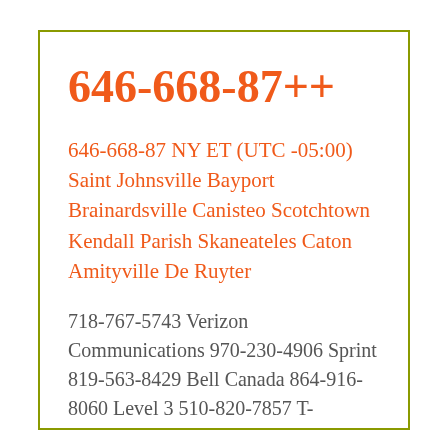646-668-87++
646-668-87 NY ET (UTC -05:00) Saint Johnsville Bayport Brainardsville Canisteo Scotchtown Kendall Parish Skaneateles Caton Amityville De Ruyter
718-767-5743 Verizon Communications 970-230-4906 Sprint 819-563-8429 Bell Canada 864-916-8060 Level 3 510-820-7857 T-